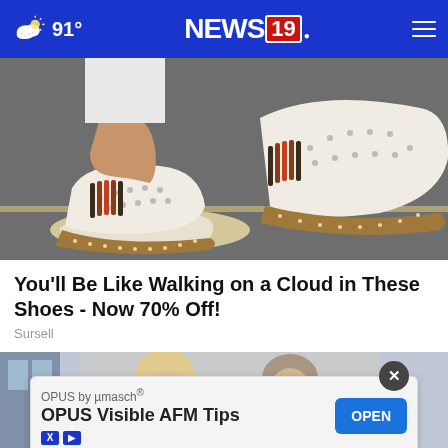91° NEWS 19
[Figure (photo): Close-up photo of feet wearing white perforated slip-on shoes with brown espadrille-style soles and red/multicolor stripe detail, standing on asphalt/pavement.]
You'll Be Like Walking on a Cloud in These Shoes - Now 70% Off!
Sursell
[Figure (photo): Photo of two smiling people (a blonde woman and a man) at what appears to be a social event, partially visible at the bottom of the page with an advertisement overlay.]
[Figure (screenshot): Advertisement overlay: OPUS by µmasch® / OPUS Visible AFM Tips / OPEN button. X close button at top right. Ad attribution icons (X and play button) at bottom left.]